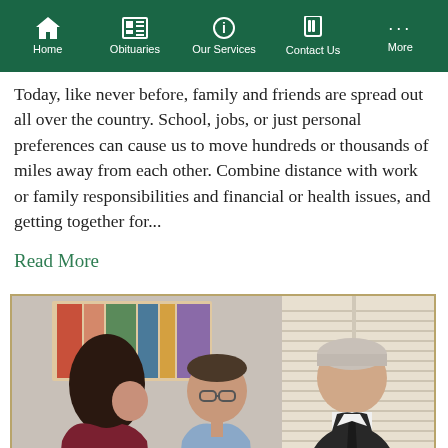Home | Obituaries | Our Services | Contact Us | More
Today, like never before, family and friends are spread out all over the country. School, jobs, or just personal preferences can cause us to move hundreds or thousands of miles away from each other. Combine distance with work or family responsibilities and financial or health issues, and getting together for...
Read More
[Figure (photo): Three people in a meeting — a woman with dark hair, a man with glasses in a blue shirt, and an older man in a dark suit and tie, appearing to be in a consultation or planning discussion.]